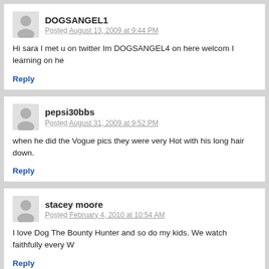DOGSANGEL1 — Posted August 13, 2009 at 9:44 PM
Hi sara I met u on twitter Im DOGSANGEL4 on here welcom I learning on he
Reply
pepsi30bbs — Posted August 31, 2009 at 9:52 PM
when he did the Vogue pics they were very Hot with his long hair down.
Reply
stacey moore — Posted February 4, 2010 at 10:54 AM
I love Dog The Bounty Hunter and so do my kids. We watch faithfully every W
Reply
azgurl4344 — Posted May 1, 2010 at 10:19 PM